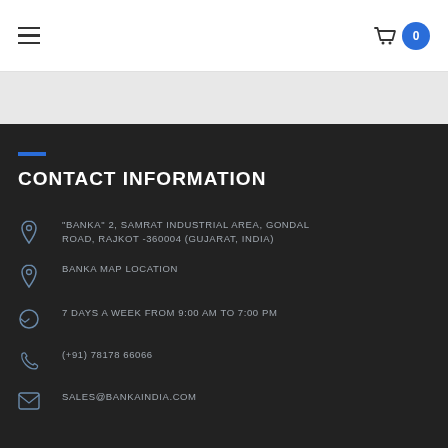Navigation menu and cart with 0 items
CONTACT INFORMATION
"BANKA" 2, SAMRAT INDUSTRIAL AREA, GONDAL ROAD, RAJKOT -360004 (GUJARAT, INDIA)
BANKA MAP LOCATION
7 DAYS A WEEK FROM 9:00 AM TO 7:00 PM
(+91) 78178 66066
SALES@BANKAINDIA.COM